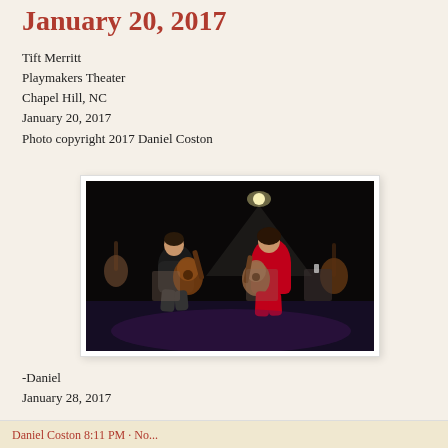January 20, 2017
Tift Merritt
Playmakers Theater
Chapel Hill, NC
January 20, 2017
Photo copyright 2017 Daniel Coston
[Figure (photo): Two musicians sitting on stage in a darkened theater, both playing acoustic guitars. The person on the right is wearing a red outfit. Several guitars are visible in the background. A single stage light illuminates the scene from above.]
-Daniel
January 28, 2017
Daniel Coston 8:11 PM - No...